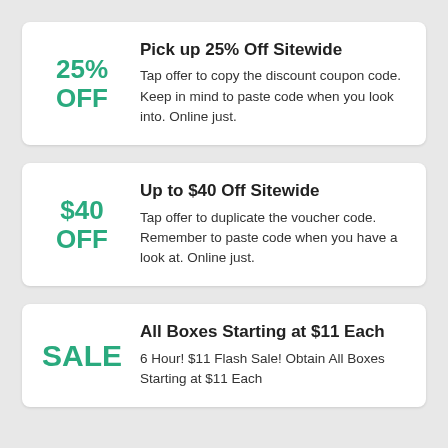25% OFF
Pick up 25% Off Sitewide
Tap offer to copy the discount coupon code. Keep in mind to paste code when you look into. Online just.
$40 OFF
Up to $40 Off Sitewide
Tap offer to duplicate the voucher code. Remember to paste code when you have a look at. Online just.
SALE
All Boxes Starting at $11 Each
6 Hour! $11 Flash Sale! Obtain All Boxes Starting at $11 Each